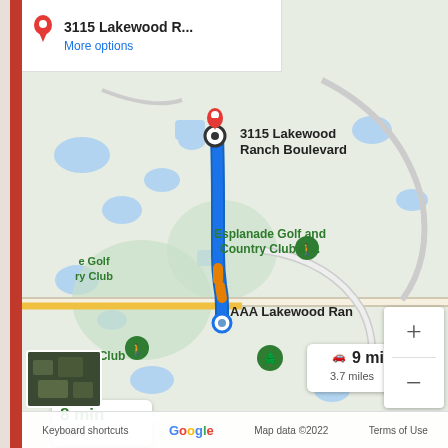[Figure (map): Google Maps screenshot showing a driving route from AAA Lakewood Ranch to 3115 Lakewood Ranch Boulevard. Route shown as blue line with orange segments indicating traffic. Two route options shown: 8 min (selected, green) and 9 min / 3.7 miles (alternate). Map shows Esplanade Golf and Country Club at... label. Destination marked with red pin at 3115 Lakewood Ranch Boulevard. Origin at AAA Lakewood Ranch. Zoom controls (+/-) visible bottom right. Satellite thumbnail bottom left. Google logo and footer visible.]
3115 Lakewood R...
More options
3115 Lakewood Ranch Boulevard
Esplanade Golf and Country Club at...
8 min
miles
9 min
3.7 miles
AAA Lakewood Ran
Keyboard shortcuts   Map data ©2022   Terms of Use